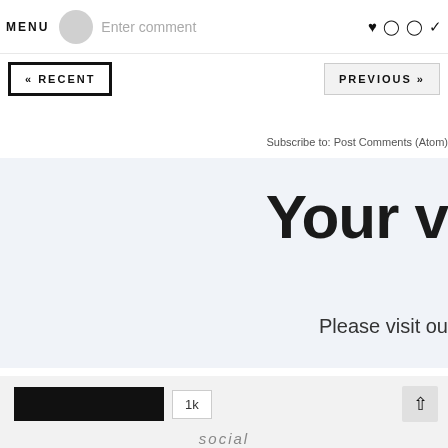MENU  Enter comment  ♥ Instagram Pinterest Twitter
« RECENT
PREVIOUS »
Subscribe to: Post Comments (Atom)
Your v
Please visit ou
1k
social